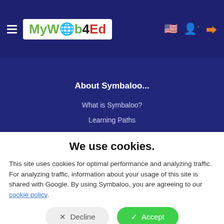[Figure (logo): MyWeb4Ed logo in white box inside dark blue header nav bar with hamburger menu icon and header icons (globe/flag, add person, login) on the right]
About Symbaloo...
What is Symbaloo?
Learning Paths
About Symbaloo
We use cookies.
This site uses cookies for optimal performance and analyzing traffic. For analyzing traffic, information about your usage of this site is shared with Google. By using Symbaloo, you are agreeing to our cookie policy.
✕  Decline
✓  Accept